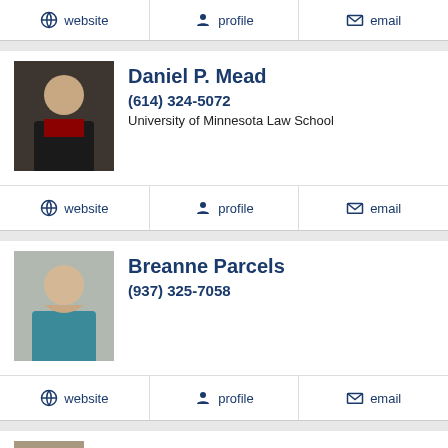website  profile  email
Daniel P. Mead
(614) 324-5072
University of Minnesota Law School
website  profile  email
Breanne Parcels
(937) 325-7058
website  profile  email
Caroline Ford